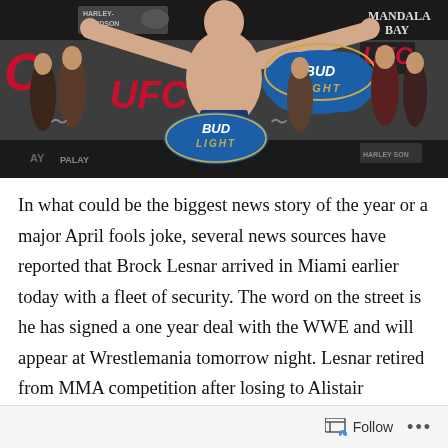[Figure (photo): UFC weigh-in photo showing Brock Lesnar with arms spread wide on stage, surrounded by ring card girls, with UFC, Bud Light, Harley-Davidson, and Mandalay Bay logos visible in background]
In what could be the biggest news story of the year or a major April fools joke, several news sources have reported that Brock Lesnar arrived in Miami earlier today with a fleet of security. The word on the street is he has signed a one year deal with the WWE and will appear at Wrestlemania tomorrow night. Lesnar retired from MMA competition after losing to Alistair Overeem on December 30th at UFC 141. Rumors of his return to the WWE have
Follow ...